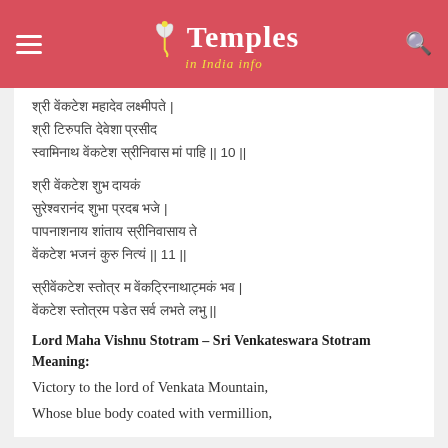Temples in India info
Sanskrit verse stanza 10
Sanskrit verse stanza 11
Sanskrit closing verse
Lord Maha Vishnu Stotram – Sri Venkateswara Stotram Meaning:
Victory to the lord of Venkata Mountain,
Whose blue body coated with vermillion,